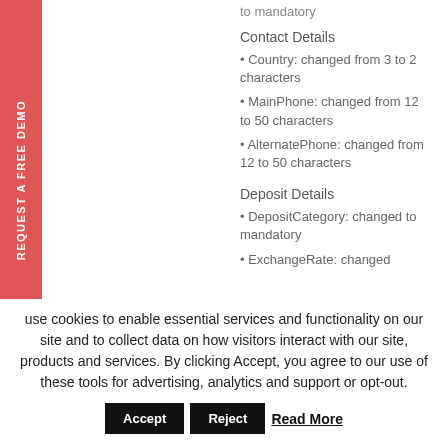to mandatory
Contact Details
• Country: changed from 3 to 2 characters
• MainPhone: changed from 12 to 50 characters
• AlternatePhone: changed from 12 to 50 characters
Deposit Details
• DepositCategory: changed to mandatory
• ExchangeRate: changed
use cookies to enable essential services and functionality on our site and to collect data on how visitors interact with our site, products and services. By clicking Accept, you agree to our use of these tools for advertising, analytics and support or opt-out.
Accept   Reject   Read More